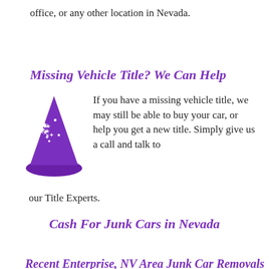office, or any other location in Nevada.
Missing Vehicle Title? We Can Help
[Figure (illustration): Purple wizard hat with white stars on it]
If you have a missing vehicle title, we may still be able to buy your car, or help you get a new title. Simply give us a call and talk to our Title Experts.
Cash For Junk Cars in Nevada
Recent Enterprise, NV Area Junk Car Removals